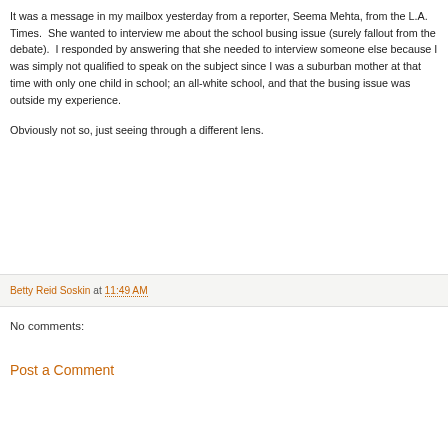It was a message in my mailbox yesterday from a reporter, Seema Mehta, from the L.A. Times.  She wanted to interview me about the school busing issue (surely fallout from the debate).  I responded by answering that she needed to interview someone else because I was simply not qualified to speak on the subject since I was a suburban mother at that time with only one child in school; an all-white school, and that the busing issue was outside my experience.

Obviously not so, just seeing through a different lens.
Betty Reid Soskin at 11:49 AM
No comments:
Post a Comment